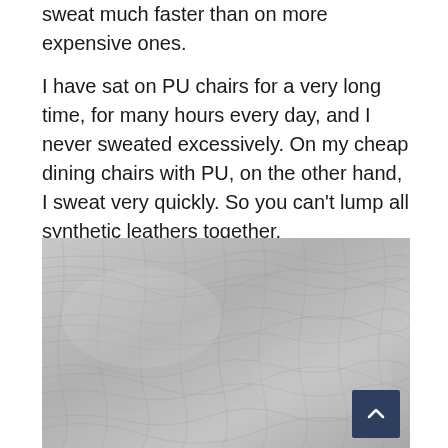sweat much faster than on more expensive ones.
I have sat on PU chairs for a very long time, for many hours every day, and I never sweated excessively. On my cheap dining chairs with PU, on the other hand, I sweat very quickly. So you can't lump all synthetic leathers together.
[Figure (photo): Close-up photograph of grey/silver leather texture showing the natural grain and wrinkle patterns of the leather surface.]